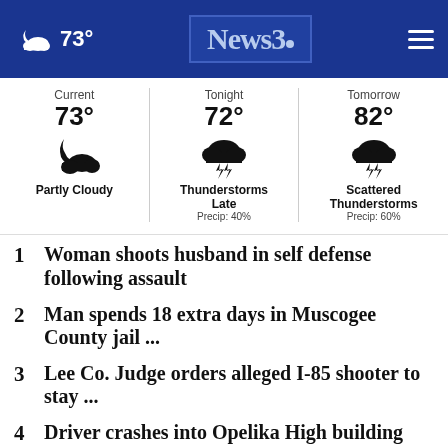News 3 — 73°
| Current | Tonight | Tomorrow |
| --- | --- | --- |
| 73° | 72° | 82° |
| Partly Cloudy | Thunderstorms Late
Precip: 40% | Scattered Thunderstorms
Precip: 60% |
1 Woman shoots husband in self defense following assault
2 Man spends 18 extra days in Muscogee County jail ...
3 Lee Co. Judge orders alleged I-85 shooter to stay ...
4 Driver crashes into Opelika High building during ...